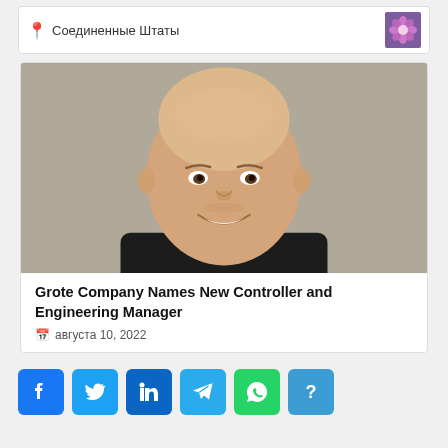Соединенные Штаты
[Figure (photo): Headshot of a smiling bald man wearing a dark shirt, against a neutral beige/gray background]
Grote Company Names New Controller and Engineering Manager
августа 10, 2022
[Figure (other): Social share buttons: Facebook, Twitter, LinkedIn, Telegram, WhatsApp, More]